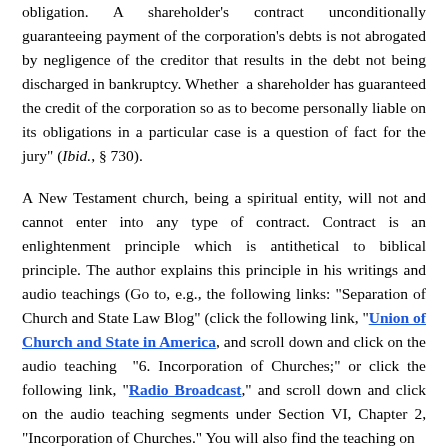obligation. A shareholder's contract unconditionally guaranteeing payment of the corporation's debts is not abrogated by negligence of the creditor that results in the debt not being discharged in bankruptcy. Whether a shareholder has guaranteed the credit of the corporation so as to become personally liable on its obligations in a particular case is a question of fact for the jury" (Ibid., § 730).
A New Testament church, being a spiritual entity, will not and cannot enter into any type of contract. Contract is an enlightenment principle which is antithetical to biblical principle. The author explains this principle in his writings and audio teachings (Go to, e.g., the following links: "Separation of Church and State Law Blog" (click the following link, "Union of Church and State in America", and scroll down and click on the audio teaching "6. Incorporation of Churches;" or click the following link, "Radio Broadcast," and scroll down and click on the audio teaching segments under Section VI, Chapter 2, "Incorporation of Churches." You will also find the teaching on